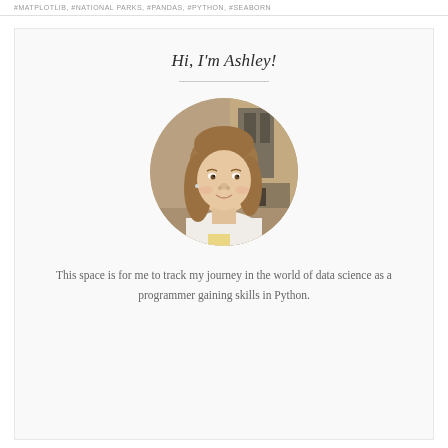#MATPLOTLIB, #NATIONAL PARKS, #PANDAS, #PYTHON, #SEABORN
Hi, I'm Ashley!
[Figure (photo): Circular cropped portrait photo of a young woman with long brown hair wearing a white top, smiling slightly, with an indoor background.]
This space is for me to track my journey in the world of data science as a programmer gaining skills in Python.